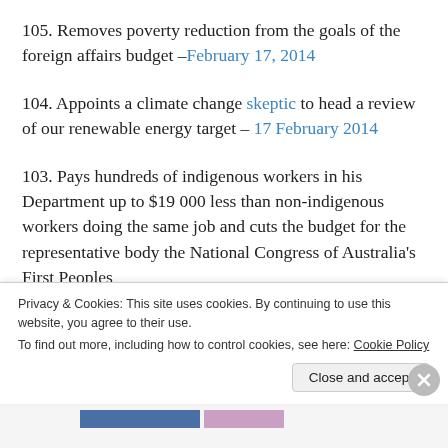105. Removes poverty reduction from the goals of the foreign affairs budget –February 17, 2014
104. Appoints a climate change skeptic to head a review of our renewable energy target – 17 February 2014
103. Pays hundreds of indigenous workers in his Department up to $19 000 less than non-indigenous workers doing the same job and cuts the budget for the representative body the National Congress of Australia's First Peoples
Privacy & Cookies: This site uses cookies. By continuing to use this website, you agree to their use. To find out more, including how to control cookies, see here: Cookie Policy